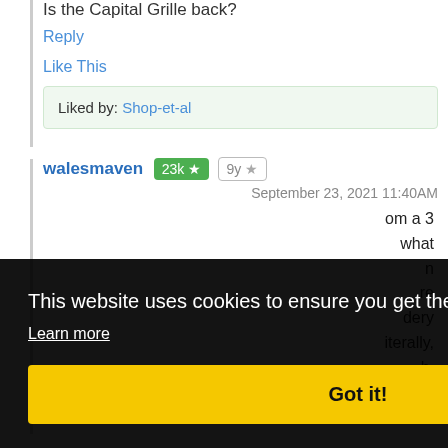Is the Capital Grille back?
Reply
Like This
Liked by: Shop-et-al
walesmaven 23k ★ 9y ★
September 23, 2021 11:40AM
om a 3 what n re dery iterally, h.
Based in MD, near DC
Shopping from the Carolinas to New York
This website uses cookies to ensure you get the best experience on our website. Learn more Got it!